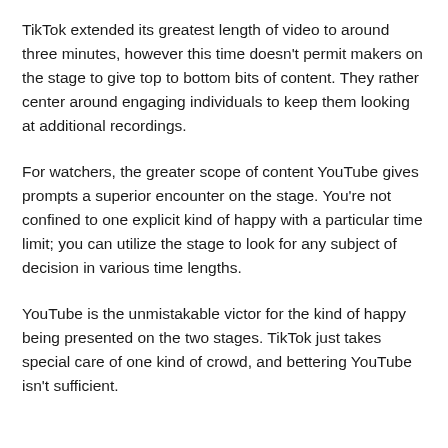TikTok extended its greatest length of video to around three minutes, however this time doesn't permit makers on the stage to give top to bottom bits of content. They rather center around engaging individuals to keep them looking at additional recordings.
For watchers, the greater scope of content YouTube gives prompts a superior encounter on the stage. You're not confined to one explicit kind of happy with a particular time limit; you can utilize the stage to look for any subject of decision in various time lengths.
YouTube is the unmistakable victor for the kind of happy being presented on the two stages. TikTok just takes special care of one kind of crowd, and bettering YouTube isn't sufficient.